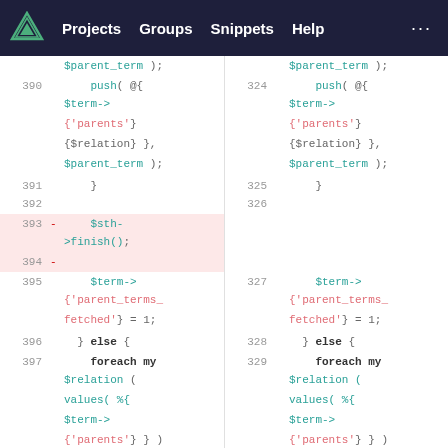Projects  Groups  Snippets  Help  ...
[Figure (screenshot): A diff view of Perl code in a GitLab-style interface. Left pane shows lines 390-397 with lines 393-394 deleted (highlighted pink), showing $sth->finish(); removal. Right pane shows lines 324-329 as the new version without that deletion. Code involves push(@{...}), $term->{'parents'}{$relation}, $parent_term, $term->{'parent_terms_fetched'}=1, else { foreach my $relation (values(%{$term->{'parents'}}) ) {]